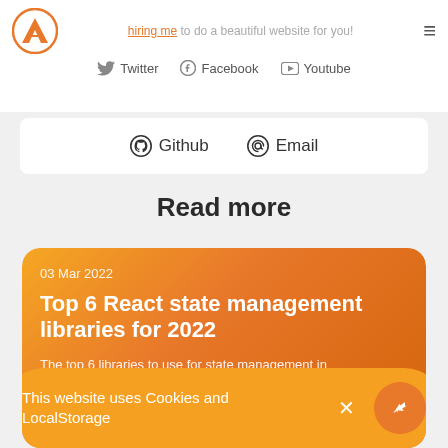hiring me to do a beautiful website for you!
Twitter  Facebook  Youtube
Github  Email
Read more
03 Mar 2022
Top 6 React state management libraries for 2022
The top 6 libraries to use for state management in
This website uses Cookies and LocalStorage